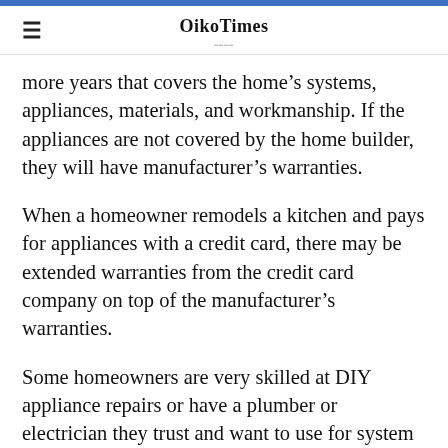OikoTimes
more years that covers the home's systems, appliances, materials, and workmanship. If the appliances are not covered by the home builder, they will have manufacturer's warranties.
When a homeowner remodels a kitchen and pays for appliances with a credit card, there may be extended warranties from the credit card company on top of the manufacturer's warranties.
Some homeowners are very skilled at DIY appliance repairs or have a plumber or electrician they trust and want to use for system repairs and maintenance. Those people purchasing a used house with the intention of remodeling it and replacing or updating